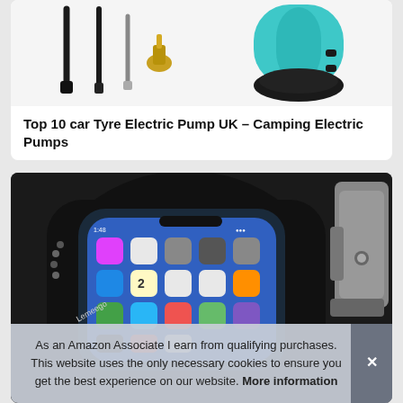[Figure (photo): Product image showing car tyre electric pump accessories including nozzle attachments and a teal/blue cylindrical pump]
Top 10 car Tyre Electric Pump UK – Camping Electric Pumps
[Figure (photo): Bike phone mount bag (Lemeego brand) holding a smartphone with app icons visible on screen, mounted on bicycle handlebars with a grey tool visible on the right]
As an Amazon Associate I earn from qualifying purchases. This website uses the only necessary cookies to ensure you get the best experience on our website. More information